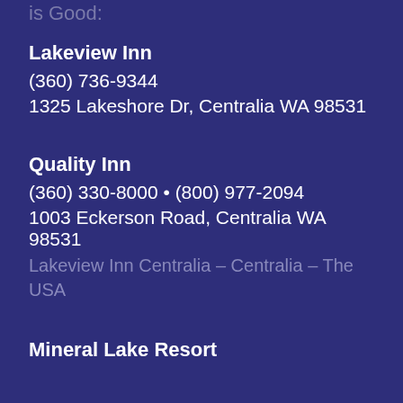is Good:
Lakeview Inn
(360) 736-9344
1325 Lakeshore Dr, Centralia WA 98531
Quality Inn
(360) 330-8000 • (800) 977-2094
1003 Eckerson Road, Centralia WA 98531
Lakeview Inn Centralia – Centralia – The USA
Mineral Lake Resort